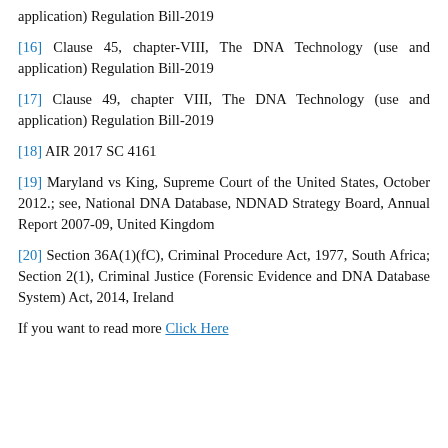application) Regulation Bill-2019
[16] Clause 45, chapter-VIII, The DNA Technology (use and application) Regulation Bill-2019
[17] Clause 49, chapter VIII, The DNA Technology (use and application) Regulation Bill-2019
[18] AIR 2017 SC 4161
[19] Maryland vs King, Supreme Court of the United States, October 2012.; see, National DNA Database, NDNAD Strategy Board, Annual Report 2007-09, United Kingdom
[20] Section 36A(1)(fC), Criminal Procedure Act, 1977, South Africa; Section 2(1), Criminal Justice (Forensic Evidence and DNA Database System) Act, 2014, Ireland
If you want to read more Click Here